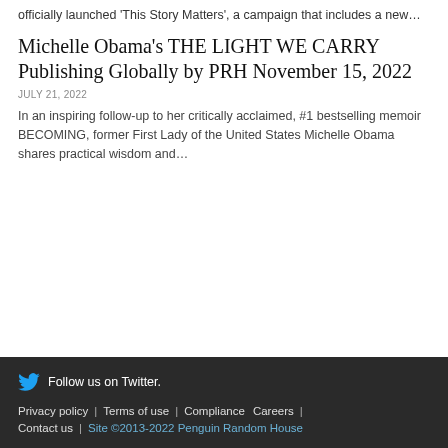officially launched 'This Story Matters', a campaign that includes a new…
Michelle Obama's THE LIGHT WE CARRY Publishing Globally by PRH November 15, 2022
JULY 21, 2022
In an inspiring follow-up to her critically acclaimed, #1 bestselling memoir BECOMING, former First Lady of the United States Michelle Obama shares practical wisdom and…
Follow us on Twitter. | Privacy policy | Terms of use | Compliance | Careers | Contact us | Site ©2013-2022 Penguin Random House